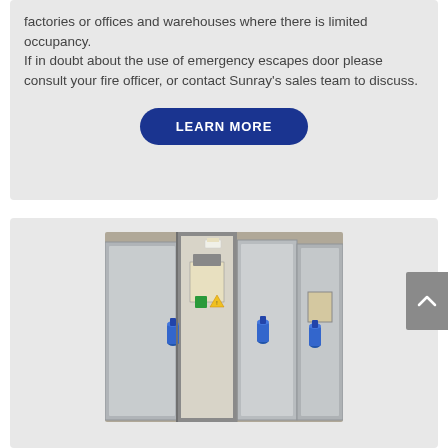factories or offices and warehouses where there is limited occupancy. If in doubt about the use of emergency escapes door please consult your fire officer, or contact Sunray's sales team to discuss.
LEARN MORE
[Figure (photo): Photo of metal security doors/cabinets with blue cylindrical components and warning labels attached, showing open and closed door panels in an industrial setting.]